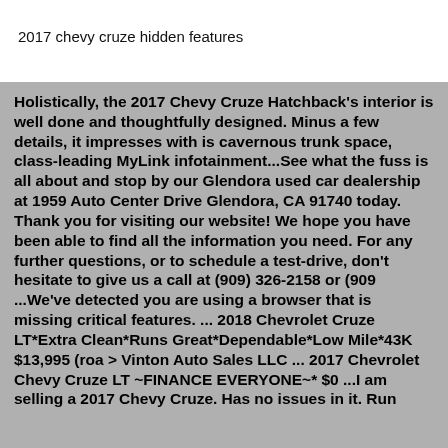2017 chevy cruze hidden features
Holistically, the 2017 Chevy Cruze Hatchback's interior is well done and thoughtfully designed. Minus a few details, it impresses with is cavernous trunk space, class-leading MyLink infotainment...See what the fuss is all about and stop by our Glendora used car dealership at 1959 Auto Center Drive Glendora, CA 91740 today. Thank you for visiting our website! We hope you have been able to find all the information you need. For any further questions, or to schedule a test-drive, don't hesitate to give us a call at (909) 326-2158 or (909 ...We've detected you are using a browser that is missing critical features. ... 2018 Chevrolet Cruze LT*Extra Clean*Runs Great*Dependable*Low Mile*43K $13,995 (roa > Vinton Auto Sales LLC ... 2017 Chevrolet Chevy Cruze LT ~FINANCE EVERYONE~* $0 ...I am selling a 2017 Chevy Cruze. Has no issues in it. Run